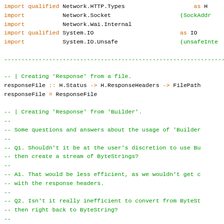import qualified Network.HTTP.Types   as H
import           Network.Socket       (SockAddr
import           Network.Wai.Internal
import qualified System.IO            as IO
import           System.IO.Unsafe     (unsafeInte
------------------------------------------------------------------------
-- | Creating 'Response' from a file.
responseFile :: H.Status -> H.ResponseHeaders -> FilePath
responseFile = ResponseFile
-- | Creating 'Response' from 'Builder'.
--
-- Some questions and answers about the usage of 'Builder
--
-- Q1. Shouldn't it be at the user's discretion to use Bu
-- then create a stream of ByteStrings?
--
-- A1. That would be less efficient, as we wouldn't get c
-- with the response headers.
--
-- Q2. Isn't it really inefficient to convert from ByteSt
-- then right back to ByteString?
--
-- A2. No. If the ByteStrings are small, then they will b
-- buffer, which should be a performance gain overall (le
-- they are already large, then blaze-builder uses an Ins
-- instruction to avoid copying.
--